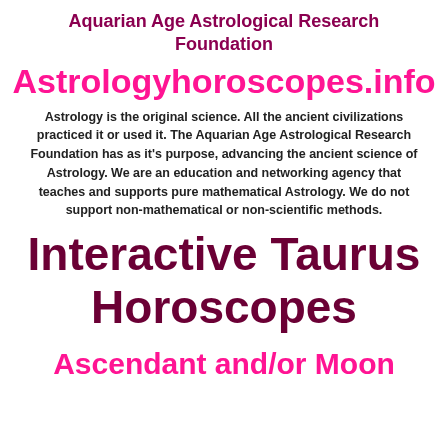Aquarian Age Astrological Research Foundation
Astrologyhoroscopes.info
Astrology is the original science. All the ancient civilizations practiced it or used it. The Aquarian Age Astrological Research Foundation has as it's purpose, advancing the ancient science of Astrology. We are an education and networking agency that teaches and supports pure mathematical Astrology. We do not support non-mathematical or non-scientific methods.
Interactive Taurus Horoscopes
Ascendant and/or Moon